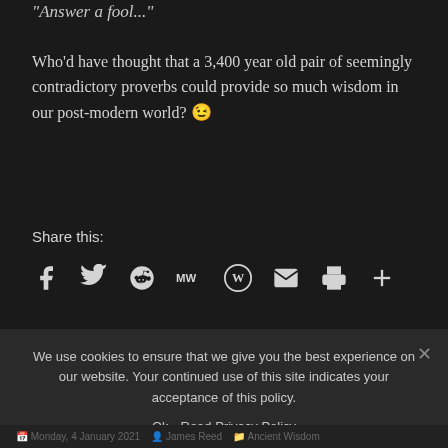"Answer a fool..."
Who'd have thought that a 3,400 year old pair of seemingly contradictory proverbs could provide so much wisdom in our post-modern world? 😉
Share this:
[Figure (other): Social sharing icons: Facebook, Twitter, Reddit, MeWe, WordPress, Email, Print, More]
PUBLISHED BY
James Reed
We use cookies to ensure that we give you the best experience on our website. Your continued use of this site indicates your acceptance of this policy.
Ok   Read Privacy Policy
Monday, 4 January 2021  James Reed  Ancient Wisdom